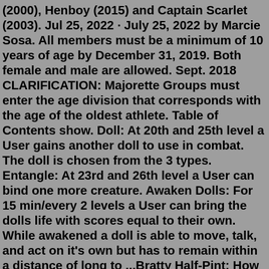(2000), Henboy (2015) and Captain Scarlet (2003). Jul 25, 2022 · July 25, 2022 by Marcie Sosa. All members must be a minimum of 10 years of age by December 31, 2019. Both female and male are allowed. Sept. 2018 CLARIFICATION: Majorette Groups must enter the age division that corresponds with the age of the oldest athlete. Table of Contents show. Doll: At 20th and 25th level a User gains another doll to use in combat. The doll is chosen from the 3 types. Entangle: At 23rd and 26th level a User can bind one more creature. Awaken Dolls: For 15 min/every 2 levels a User can bring the dolls life with scores equal to their own. While awakened a doll is able to move, talk, and act on it's own but has to remain within a distance of long to ...Bratty Half-Pint: How his initial ... In her and husband's debut episode, Genki claims that she wasn't allowed to play with stuff like dolls and other toys when she was a kid—this would ... Mrs. Beetles corrects him that she was going to send him to ballroom dancing school, which Numbuh 4 considers a worse prospect than military school. ...surefire led